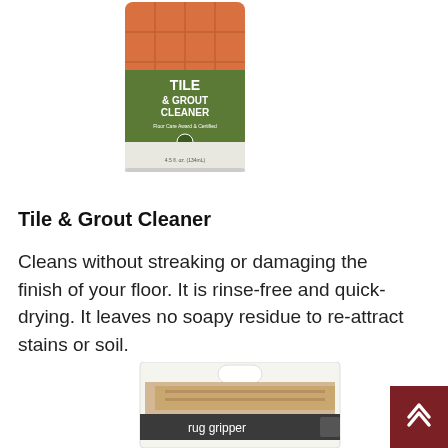[Figure (photo): Tile & Grout Cleaner product container with orange tile background and green label]
Tile & Grout Cleaner
Cleans without streaking or damaging the finish of your floor. It is rinse-free and quick-drying. It leaves no soapy residue to re-attract stains or soil.
[Figure (photo): Rug Gripper product in white retail packaging with carry handle cutout and dark label reading 'rug gripper']